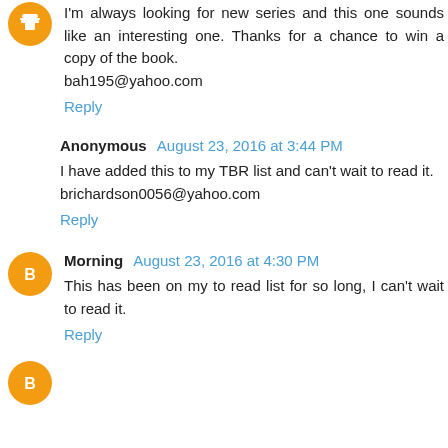I'm always looking for new series and this one sounds like an interesting one. Thanks for a chance to win a copy of the book.
bah195@yahoo.com
Reply
Anonymous August 23, 2016 at 3:44 PM
I have added this to my TBR list and can't wait to read it.
brichardson0056@yahoo.com
Reply
Morning August 23, 2016 at 4:30 PM
This has been on my to read list for so long, I can't wait to read it.
Reply